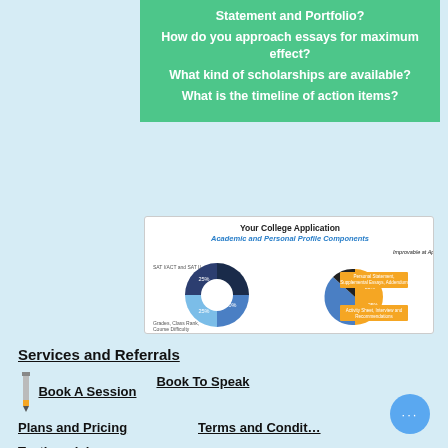Statement and Portfolio?
How do you approach essays for maximum effect?
What kind of scholarships are available?
What is the timeline of action items?
[Figure (pie-chart): Donut/pie chart showing college application components: SAT I/ACT and SAT II 25%, Grades/Class Rank/Course Difficulty 25%, middle 50%, and improvable at application time sections including Personal Statement/Supplemental Essays/Addendum 25%, Activity Sheet/Interview and Recommendations 25%.]
Services and Referrals
Book A Session
Book To Speak
Plans and Pricing
Terms and Conditions
Testimonials